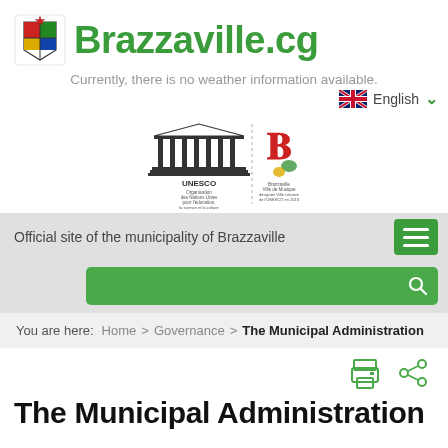[Figure (logo): Brazzaville city coat of arms logo]
Brazzaville.cg
Currently, there is no weather information available.
English
[Figure (logo): UNESCO and Brazzaville Ville de Musique logos with French text: Organisation des Nations Unies pour l'éducation, la science et la culture | Brazzaville Ville de Musique désignée Ville créative de l'UNESCO en 2013]
Official site of the municipality of Brazzaville
You are here:  Home  >  Governance  >  The Municipal Administration
The Municipal Administration